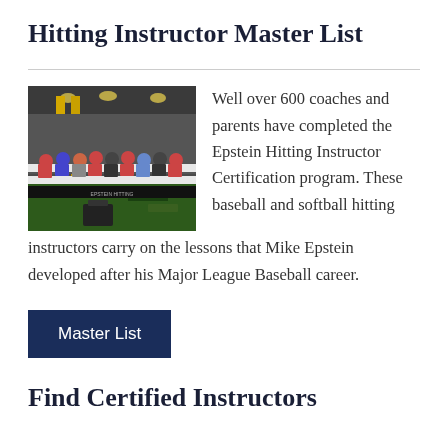Hitting Instructor Master List
[Figure (photo): Indoor baseball facility classroom session with coaches and parents seated at long tables, yellow poles visible in background]
Well over 600 coaches and parents have completed the Epstein Hitting Instructor Certification program. These baseball and softball hitting instructors carry on the lessons that Mike Epstein developed after his Major League Baseball career.
Master List
Find Certified Instructors